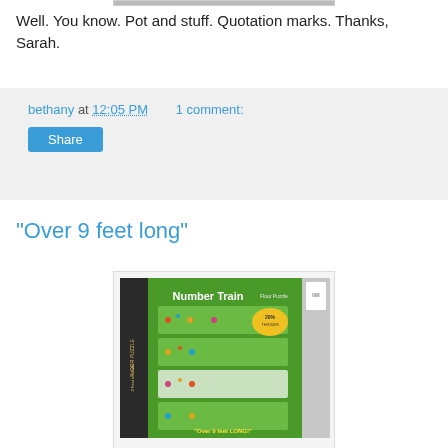[Figure (photo): Top cropped image strip (partially visible)]
Well. You know. Pot and stuff. Quotation marks. Thanks, Sarah.
bethany at 12:05 PM   1 comment:
Share
"Over 9 feet long"
[Figure (photo): Photo of Number Train Floor Puzzle box on a store shelf, green box with train images and text reading 'Over 9 feet LONG!']